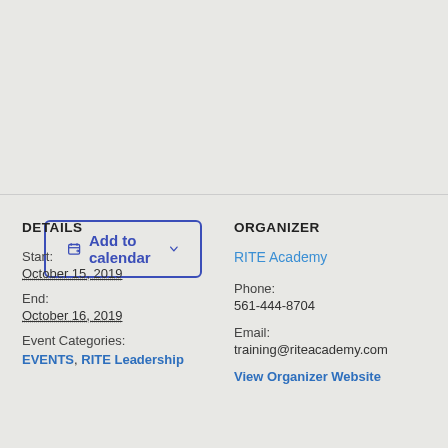[Figure (other): Add to calendar button with calendar icon and dropdown arrow]
DETAILS
Start:
October 15, 2019
End:
October 16, 2019
Event Categories:
EVENTS, RITE Leadership
ORGANIZER
RITE Academy
Phone:
561-444-8704
Email:
training@riteacademy.com
View Organizer Website